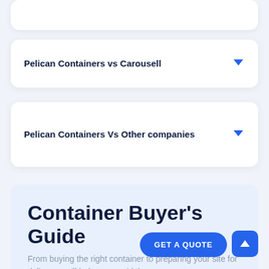Pelican Containers vs Carousell
Pelican Containers Vs Other companies
Container Buyer's Guide
From buying the right container to preparing your site for delivery, we'll help you avoid the